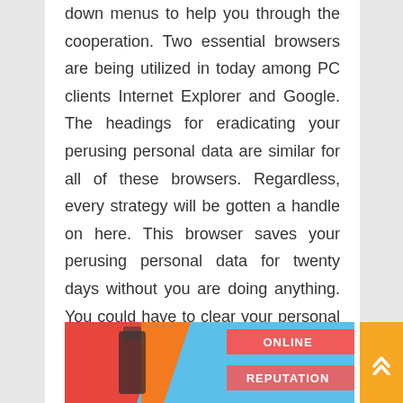down menus to help you through the cooperation. Two essential browsers are being utilized in today among PC clients Internet Explorer and Google. The headings for eradicating your perusing personal data are similar for all of these browsers. Regardless, every strategy will be gotten a handle on here. This browser saves your perusing personal data for twenty days without you are doing anything. You could have to clear your personal data before the twenty days has sneaked past.
[Figure (photo): A colorful image showing red and orange graphic elements with text labels 'ONLINE' and 'REPUTATION' on pink/red bands on the right side.]